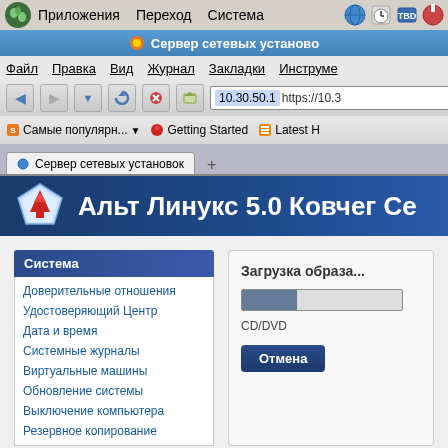[Figure (screenshot): Screenshot of a Linux (GNOME) desktop with Firefox browser open, showing the ALT Linux 5.0 Kovcheg network installation server web interface. Left sidebar shows System menu items. Right panel shows image loading progress bar with CD/DVD label and Cancel button.]